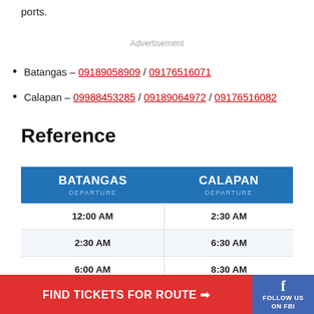ports.
Advertisement
Batangas – 09189058909 / 09176516071
Calapan – 09988453285 / 09189064972 / 09176516082
Reference
| BATANGAS DEPARTURE | CALAPAN DEPARTURE |
| --- | --- |
| 12:00 AM | 2:30 AM |
| 2:30 AM | 6:30 AM |
| 6:00 AM | 8:30 AM |
FIND TICKETS FOR ROUTE →
FOLLOW US ON FBI